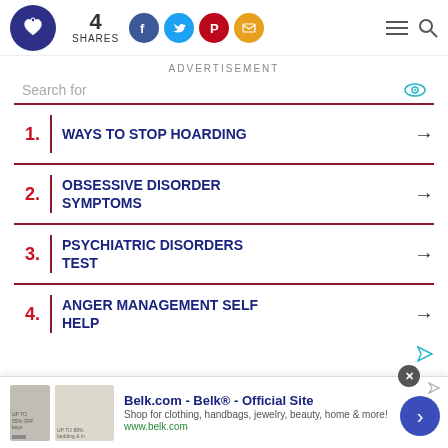4 SHARES [social icons: Facebook, Twitter, Pinterest, Email]
ADVERTISEMENT
1. WAYS TO STOP HOARDING
2. OBSESSIVE DISORDER SYMPTOMS
3. PSYCHIATRIC DISORDERS TEST
4. ANGER MANAGEMENT SELF HELP
Belk.com - Belk® - Official Site
Shop for clothing, handbags, jewelry, beauty, home & more!
www.belk.com